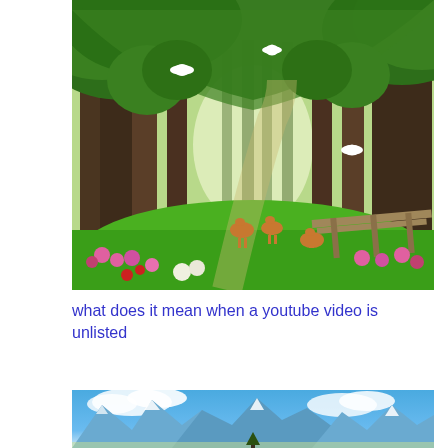[Figure (illustration): A lush green forest path with tall trees forming a tunnel, white doves flying, deer grazing, pink and red wildflowers, and a wooden dock/bridge in the background with misty light at the end of the path.]
what does it mean when a youtube video is unlisted
[Figure (illustration): A blue-toned animated/illustrated mountain landscape with snow-capped peaks, blue sky with white clouds, and a small dark tree or figure visible at the bottom center.]